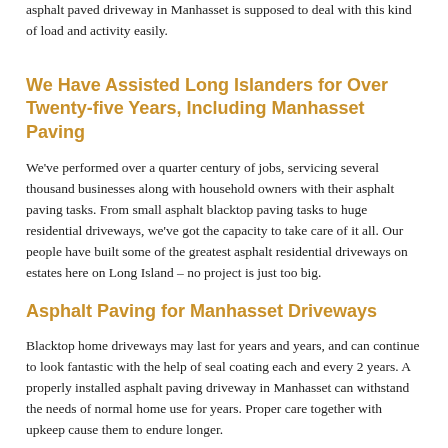asphalt paved driveway in Manhasset is supposed to deal with this kind of load and activity easily.
We Have Assisted Long Islanders for Over Twenty-five Years, Including Manhasset Paving
We've performed over a quarter century of jobs, servicing several thousand businesses along with household owners with their asphalt paving tasks. From small asphalt blacktop paving tasks to huge residential driveways, we've got the capacity to take care of it all. Our people have built some of the greatest asphalt residential driveways on estates here on Long Island – no project is just too big.
Asphalt Paving for Manhasset Driveways
Blacktop home driveways may last for years and years, and can continue to look fantastic with the help of seal coating each and every 2 years. A properly installed asphalt paving driveway in Manhasset can withstand the needs of normal home use for years. Proper care together with upkeep cause them to endure longer.